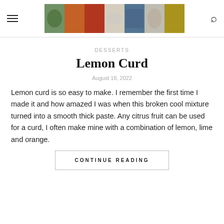Header with hamburger menu, food blog banner image, and search icon
DESSERTS
Lemon Curd
August 18, 2022
Lemon curd is so easy to make. I remember the first time I made it and how amazed I was when this broken cool mixture turned into a smooth thick paste. Any citrus fruit can be used for a curd, I often make mine with a combination of lemon, lime and orange.
CONTINUE READING